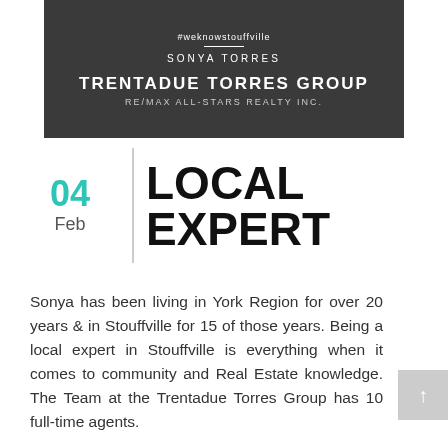[Figure (photo): Dark banner photo with real estate agent branding: hashtag #weknowstouffville, agent name SONYA TORRES, group name TRENTADUE TORRES GROUP, RE/MAX ALL-STARS REALTY INC.]
04
Feb
LOCAL EXPERT
Sonya has been living in York Region for over 20 years & in Stouffville for 15 of those years. Being a local expert in Stouffville is everything when it comes to community and Real Estate knowledge. The Team at the Trentadue Torres Group has 10 full-time agents.